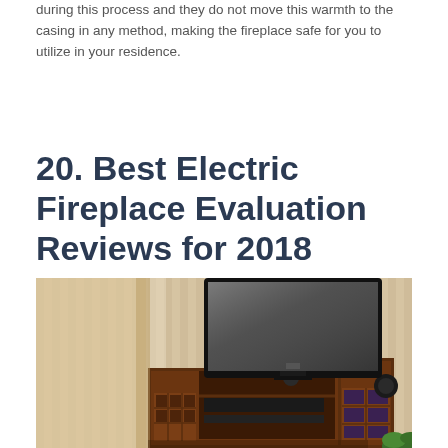during this process and they do not move this warmth to the casing in any method, making the fireplace safe for you to utilize in your residence.
20. Best Electric Fireplace Evaluation Reviews for 2018
[Figure (photo): A wooden entertainment center with shelves holding media equipment, topped by a large flat-screen television, positioned in front of a striped wallpapered wall with a plant visible in the lower right corner.]